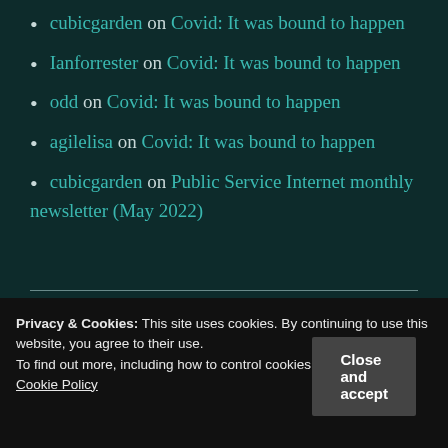cubicgarden on Covid: It was bound to happen
Ianforrester on Covid: It was bound to happen
odd on Covid: It was bound to happen
agilelisa on Covid: It was bound to happen
cubicgarden on Public Service Internet monthly newsletter (May 2022)
Privacy & Cookies: This site uses cookies. By continuing to use this website, you agree to their use.
To find out more, including how to control cookies, see here:
Cookie Policy
Close and accept